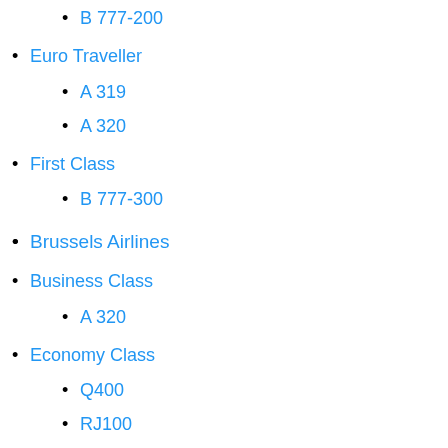B 777-200
Euro Traveller
A 319
A 320
First Class
B 777-300
Brussels Airlines
Business Class
A 320
Economy Class
Q400
RJ100
Cambodia AngkorAir
Business Class
A 321
Cape Air